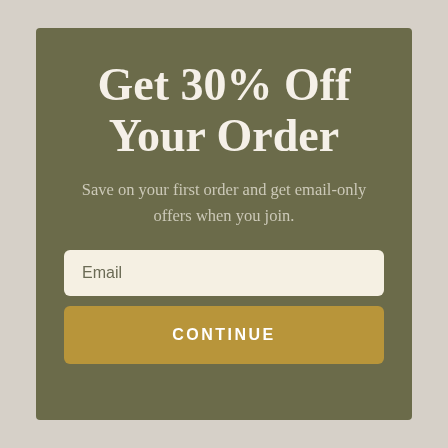Get 30% Off Your Order
Save on your first order and get email-only offers when you join.
Email
CONTINUE